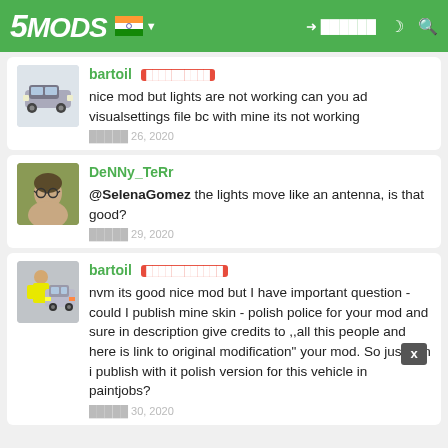5MODS
bartoil [badge] nice mod but lights are not working can you ad visualsettings file bc with mine its not working
[date] 26, 2020
DeNNy_TeRr @SelenaGomez the lights move like an antenna, is that good?
[date] 29, 2020
bartoil [badge] nvm its good nice mod but I have important question - could I publish mine skin - polish police for your mod and sure in description give credits to ,,all this people and here is link to original modification" your mod. So just can i publish with it polish version for this vehicle in paintjobs?
[date] 30, 2020